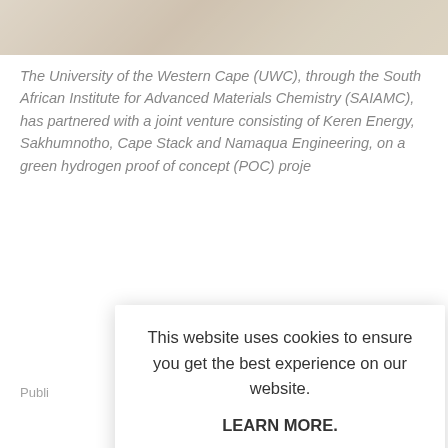[Figure (photo): Photo strip at top of page showing a sandy/rocky surface texture]
The University of the Western Cape (UWC), through the South African Institute for Advanced Materials Chemistry (SAIAMC), has partnered with a joint venture consisting of Keren Energy, Sakhumnotho, Cape Stack and Namaqua Engineering, on a green hydrogen proof of concept (POC) proje…
Publi…
SHAR…
This website uses cookies to ensure you get the best experience on our website.

LEARN MORE.

ACCEPT COOKIES